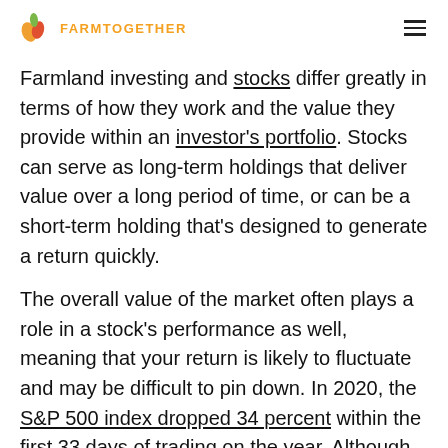FARMTOGETHER
Farmland investing and stocks differ greatly in terms of how they work and the value they provide within an investor's portfolio. Stocks can serve as long-term holdings that deliver value over a long period of time, or can be a short-term holding that's designed to generate a return quickly.
The overall value of the market often plays a role in a stock's performance as well, meaning that your return is likely to fluctuate and may be difficult to pin down. In 2020, the S&P 500 index dropped 34 percent within the first 33 days of trading on the year. Although the index went on to regain much of what was lost, the disruption was enough to